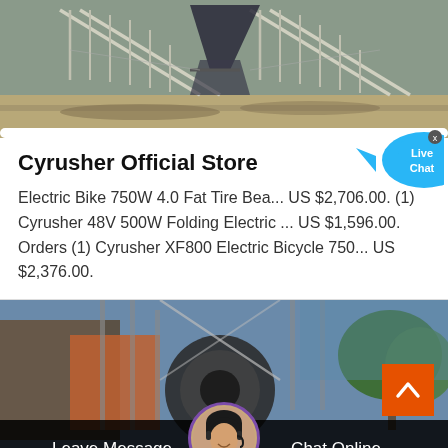[Figure (photo): Industrial machinery / conveyor belt structure at a construction or mining site, outdoor setting with sandy ground.]
Cyrusher Official Store
Electric Bike 750W 4.0 Fat Tire Bea... US $2,706.00. (1) Cyrusher 48V 500W Folding Electric ... US $1,596.00. Orders (1) Cyrusher XF800 Electric Bicycle 750... US $2,376.00.
[Figure (screenshot): Live Chat bubble overlay in the top-right corner, teal/blue speech bubble with 'Live Chat' text and an X close button.]
[Figure (photo): Industrial building exterior with scaffolding and machinery, blue sky with trees in the background. Bottom bar shows Leave Message | agent avatar | Chat Online.]